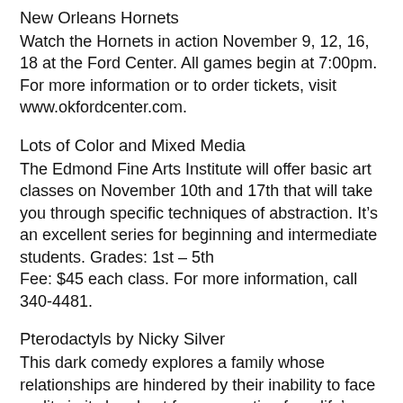New Orleans Hornets
Watch the Hornets in action November 9, 12, 16, 18 at the Ford Center. All games begin at 7:00pm. For more information or to order tickets, visit www.okfordcenter.com.
Lots of Color and Mixed Media
The Edmond Fine Arts Institute will offer basic art classes on November 10th and 17th that will take you through specific techniques of abstraction. It’s an excellent series for beginning and intermediate students. Grades: 1st – 5th
Fee: $45 each class. For more information, call 340-4481.
Pterodactyls by Nicky Silver
This dark comedy explores a family whose relationships are hindered by their inability to face reality in its harshest forms, reacting from life’s